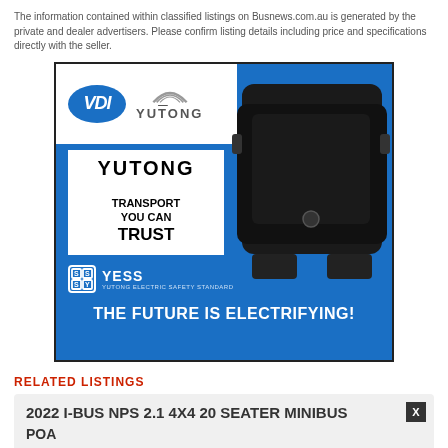The information contained within classified listings on Busnews.com.au is generated by the private and dealer advertisers. Please confirm listing details including price and specifications directly with the seller.
[Figure (advertisement): VDI Yutong advertisement banner. Blue background with VDI oval logo, Yutong arc logo, bus silhouette on right. White bordered boxes with 'YUTONG' and 'TRANSPORT YOU CAN TRUST'. YESS (Yutong Electric Safety Standard) logo. Text: 'THE FUTURE IS ELECTRIFYING!']
RELATED LISTINGS
2022 I-BUS NPS 2.1 4X4 20 SEATER MINIIBUS
POA
[Figure (advertisement): Geotab advertisement: 'More than a black box' with Geotab GO device image and GEOTAB logo]